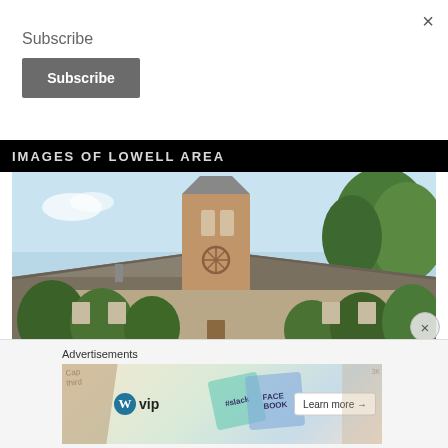×
Subscribe
Subscribe
IMAGES OF LOWELL AREA
[Figure (photo): Exterior photo of a brick church building with a tall square tower/steeple with a circular decorative element, surrounded by green trees against a light blue sky.]
×
Advertisements
[Figure (screenshot): WordPress VIP advertisement banner with colorful card graphics showing social media logos (Slack, Facebook) and a 'Learn more →' button.]